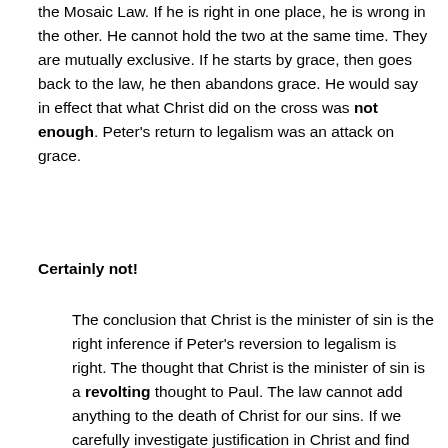the Mosaic Law. If he is right in one place, he is wrong in the other. He cannot hold the two at the same time. They are mutually exclusive. If he starts by grace, then goes back to the law, he then abandons grace. He would say in effect that what Christ did on the cross was not enough. Peter's return to legalism was an attack on grace.
Certainly not!
The conclusion that Christ is the minister of sin is the right inference if Peter's reversion to legalism is right. The thought that Christ is the minister of sin is a revolting thought to Paul. The law cannot add anything to the death of Christ for our sins. If we carefully investigate justification in Christ and find